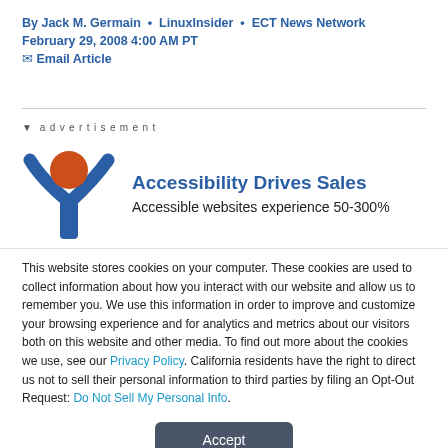By Jack M. Germain • LinuxInsider • ECT News Network
February 29, 2008 4:00 AM PT
✉ Email Article
[Figure (illustration): Advertisement banner: logo of a figure with raised arms (blue) and orange circle head, with text 'Accessibility Drives Sales' and 'Accessible websites experience 50-300%']
This website stores cookies on your computer. These cookies are used to collect information about how you interact with our website and allow us to remember you. We use this information in order to improve and customize your browsing experience and for analytics and metrics about our visitors both on this website and other media. To find out more about the cookies we use, see our Privacy Policy. California residents have the right to direct us not to sell their personal information to third parties by filing an Opt-Out Request: Do Not Sell My Personal Info.
Accept